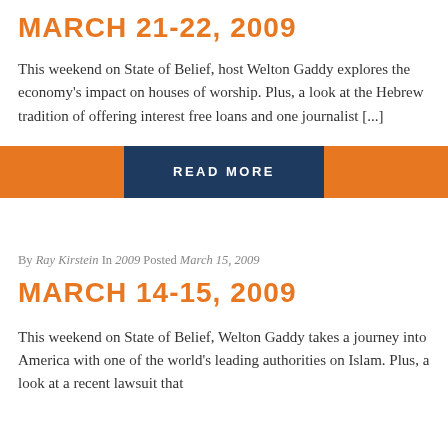MARCH 21-22, 2009
This weekend on State of Belief, host Welton Gaddy explores the economy's impact on houses of worship. Plus, a look at the Hebrew tradition of offering interest free loans and one journalist [...]
[Figure (other): Orange bar with centered dark blue 'READ MORE' button]
By Ray Kirstein In 2009 Posted March 15, 2009
MARCH 14-15, 2009
This weekend on State of Belief, Welton Gaddy takes a journey into America with one of the world's leading authorities on Islam. Plus, a look at a recent lawsuit that